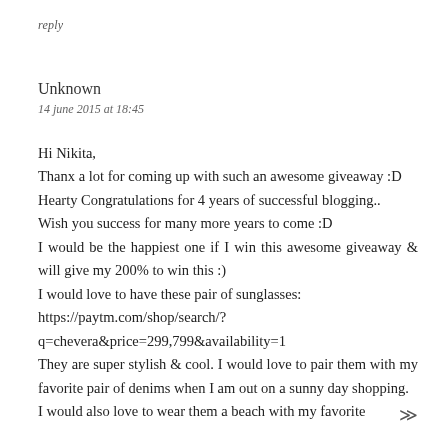reply
Unknown
14 june 2015 at 18:45
Hi Nikita,
Thanx a lot for coming up with such an awesome giveaway :D
Hearty Congratulations for 4 years of successful blogging..
Wish you success for many more years to come :D
I would be the happiest one if I win this awesome giveaway & will give my 200% to win this :)
I would love to have these pair of sunglasses:
https://paytm.com/shop/search/?q=chevera&price=299,799&availability=1
They are super stylish & cool. I would love to pair them with my favorite pair of denims when I am out on a sunny day shopping.
I would also love to wear them a beach with my favorite